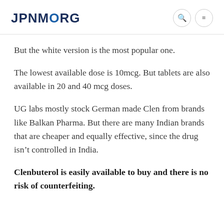JPNMORG
But the white version is the most popular one.
The lowest available dose is 10mcg. But tablets are also available in 20 and 40 mcg doses.
UG labs mostly stock German made Clen from brands like Balkan Pharma. But there are many Indian brands that are cheaper and equally effective, since the drug isn’t controlled in India.
Clenbuterol is easily available to buy and there is no risk of counterfeiting.